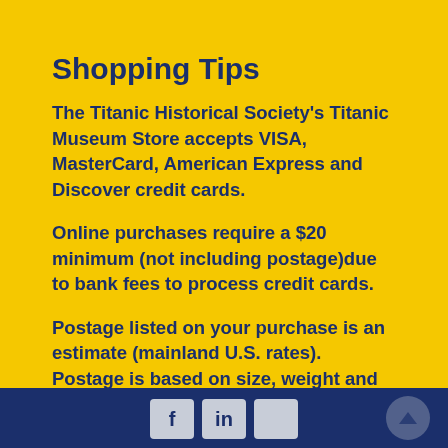Shopping Tips
The Titanic Historical Society's Titanic Museum Store accepts VISA, MasterCard, American Express and Discover credit cards.
Online purchases require a $20 minimum (not including postage)due to bank fees to process credit cards.
Postage listed on your purchase is an estimate (mainland U.S. rates). Postage is based on size, weight and location and will be added or subtracted based on the actual shipping cost.
Social media icons and scroll-to-top button